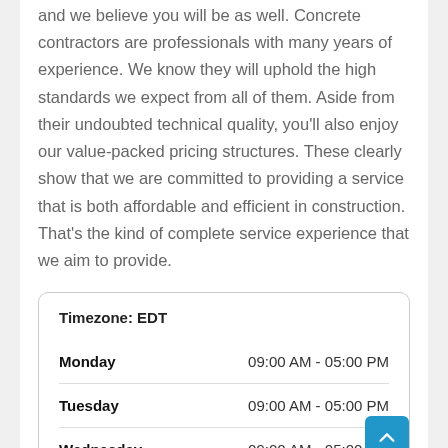and we believe you will be as well. Concrete contractors are professionals with many years of experience. We know they will uphold the high standards we expect from all of them. Aside from their undoubted technical quality, you'll also enjoy our value-packed pricing structures. These clearly show that we are committed to providing a service that is both affordable and efficient in construction. That's the kind of complete service experience that we aim to provide.
| Day | Hours |
| --- | --- |
| Monday | 09:00 AM - 05:00 PM |
| Tuesday | 09:00 AM - 05:00 PM |
| Wednesday | 09:00 AM - 05:00 PM |